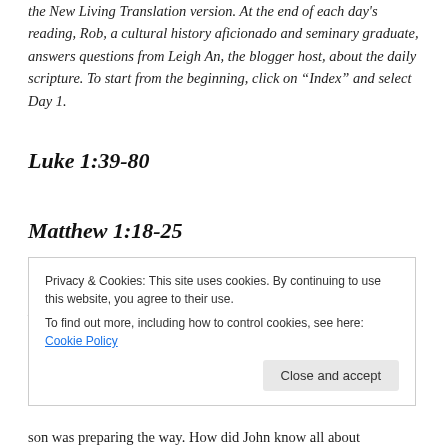the New Living Translation version. At the end of each day's reading, Rob, a cultural history aficionado and seminary graduate, answers questions from Leigh An, the blogger host, about the daily scripture. To start from the beginning, click on “Index” and select Day 1.
Luke 1:39-80
Matthew 1:18-25
Luke 2:1-40
Privacy & Cookies: This site uses cookies. By continuing to use this website, you agree to their use.
To find out more, including how to control cookies, see here: Cookie Policy
son was preparing the way. How did John know all about